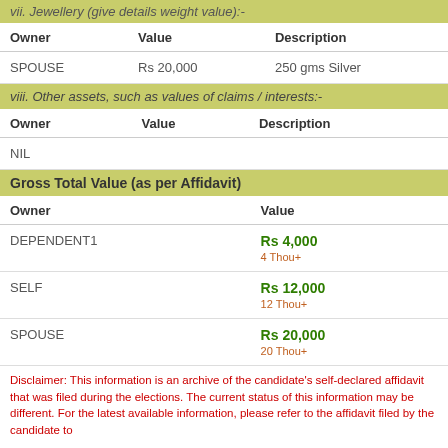vii. Jewellery (give details weight value):-
| Owner | Value | Description |
| --- | --- | --- |
| SPOUSE | Rs 20,000 | 250 gms Silver |
viii. Other assets, such as values of claims / interests:-
| Owner | Value | Description |
| --- | --- | --- |
| NIL |  |  |
Gross Total Value (as per Affidavit)
| Owner | Value |
| --- | --- |
| DEPENDENT1 | Rs 4,000
4 Thou+ |
| SELF | Rs 12,000
12 Thou+ |
| SPOUSE | Rs 20,000
20 Thou+ |
Disclaimer: This information is an archive of the candidate’s self-declared affidavit that was filed during the elections. The current status of this information may be different. For the latest available information, please refer to the affidavit filed by the candidate to